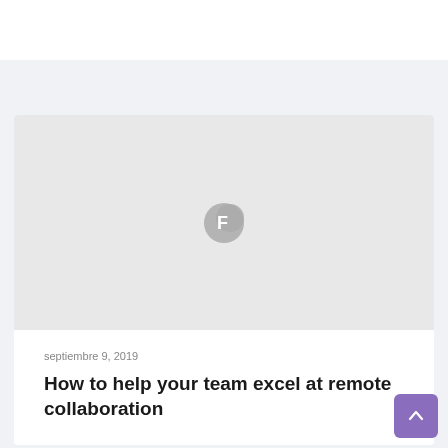[Figure (other): Gray image placeholder with a stylized 'F' favicon/logo icon in the center]
septiembre 9, 2019
How to help your team excel at remote collaboration